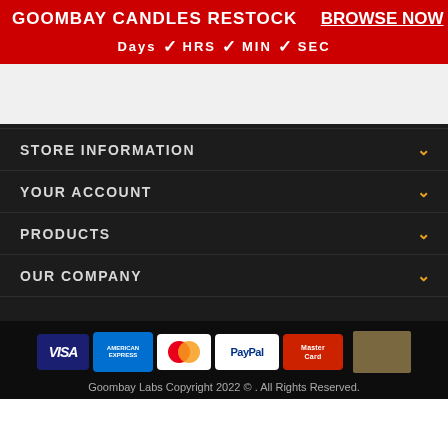GOOMBAY CANDLES RESTOCK   BROWSE NOW
Days : HRS : MIN : SEC
STORE INFORMATION
YOUR ACCOUNT
PRODUCTS
OUR COMPANY
[Figure (logo): Payment method logos: VISA, American Express, Mastercard symbol, PayPal, MasterCard]
Goombay Labs Copyright 2022 © . All Rights Reserved.